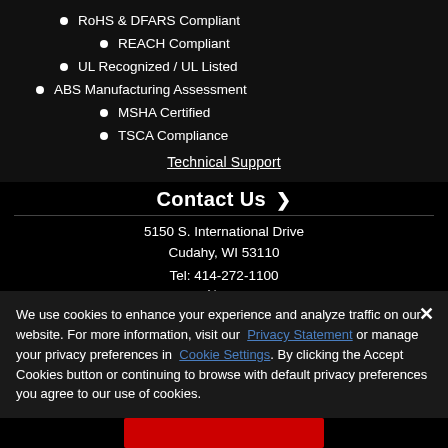RoHS & DFARS Compliant
REACH Compliant
UL Recognized / UL Listed
ABS Manufacturing Assessment
MSHA Certified
TSCA Compliance
Technical Support
Contact Us >
5150 S. International Drive
Cudahy, WI 53110
Tel: 414-272-1100
News
We use cookies to enhance your experience and analyze traffic on our website. For more information, visit our Privacy Statement or manage your privacy preferences in Cookie Settings. By clicking the Accept Cookies button or continuing to browse with default privacy preferences you agree to our use of cookies.